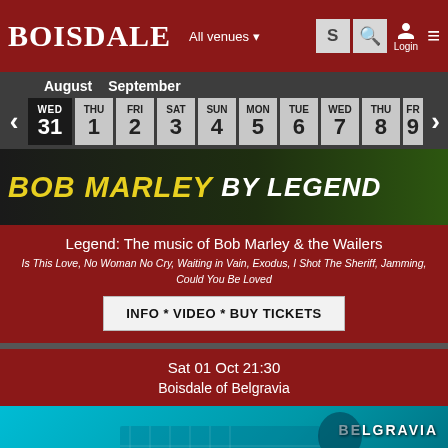BOISDALE
All venues ▾
[Figure (screenshot): Calendar date picker showing August 31 (WED) and September 1-8 dates]
[Figure (photo): Bob Marley by Legend event banner image with yellow and white text]
Legend: The music of Bob Marley & the Wailers
Is This Love, No Woman No Cry, Waiting in Vain, Exodus, I Shot The Sheriff, Jamming, Could You Be Loved
INFO * VIDEO * BUY TICKETS
Sat 01 Oct 21:30
Boisdale of Belgravia
[Figure (photo): Belgravia venue photo with cyan/blue background and singer silhouette, BELGRAVIA text label]